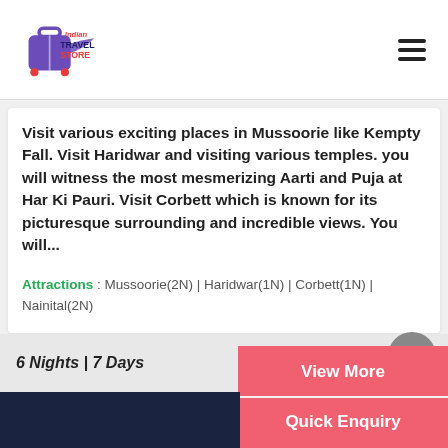Indian Travel Store
Visit various exciting places in Mussoorie like Kempty Fall. Visit Haridwar and visiting various temples. you will witness the most mesmerizing Aarti and Puja at Har Ki Pauri. Visit Corbett which is known for its picturesque surrounding and incredible views. You will...
Attractions : Mussoorie(2N) | Haridwar(1N) | Corbett(1N) | Nainital(2N)
6 Nights | 7 Days
View More
Quick Enquiry